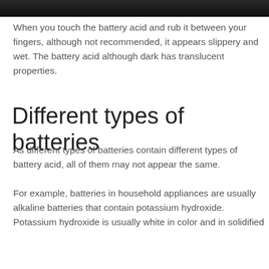[Figure (photo): Dark/black background photo, partially visible at the top of the page]
When you touch the battery acid and rub it between your fingers, although not recommended, it appears slippery and wet. The battery acid although dark has translucent properties.
Different types of batteries
As different types of batteries contain different types of battery acid, all of them may not appear the same.
For example, batteries in household appliances are usually alkaline batteries that contain potassium hydroxide. Potassium hydroxide is usually white in color and in solidified